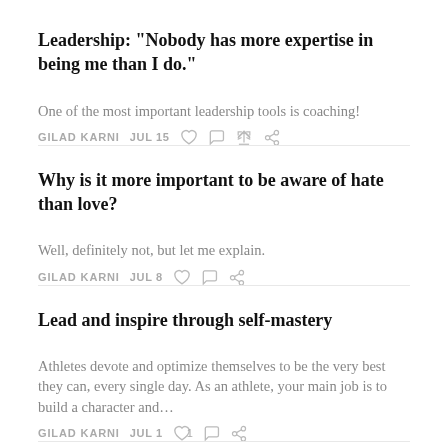Leadership: "Nobody has more expertise in being me than I do."
One of the most important leadership tools is coaching!
GILAD KARNI   JUL 15
Why is it more important to be aware of hate than love?
Well, definitely not, but let me explain.
GILAD KARNI   JUL 8
Lead and inspire through self-mastery
Athletes devote and optimize themselves to be the very best they can, every single day. As an athlete, your main job is to build a character and…
GILAD KARNI   JUL 1   1
My answers to the 10 philosophical questions